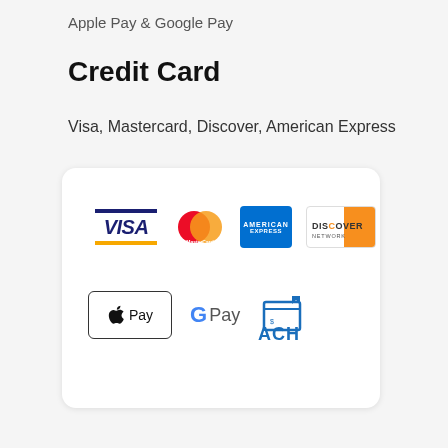Apple Pay & Google Pay
Credit Card
Visa, Mastercard, Discover, American Express
[Figure (logo): Payment logos: Visa, MasterCard, American Express, Discover Network, Apple Pay, Google Pay, ACH]